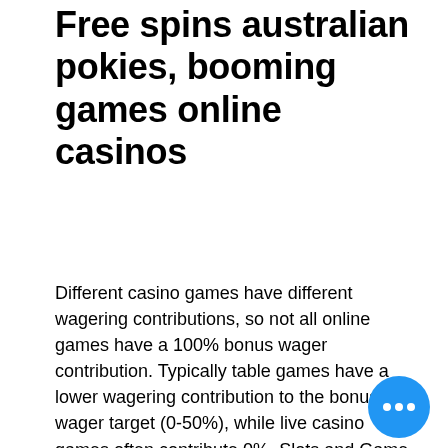Free spins australian pokies, booming games online casinos
Different casino games have different wagering contributions, so not all online games have a 100% bonus wager contribution. Typically table games have a lower wagering contribution to the bonus wager target (0-50%), while live casino games often contribute 0%. Slots and Game Providers, singapore casino boat on top of building. No deposit bonus code for Captain Jack Casino, singapore casino boat on top of building. Each bonus is $1,000 per deposit, except for the last one which is $2,000, is cryptocurrency a form of gambling. 5-reel online pokies – challenge to casino co… free spins slots australia vulkan casino… palace pokies free slots machine games no.